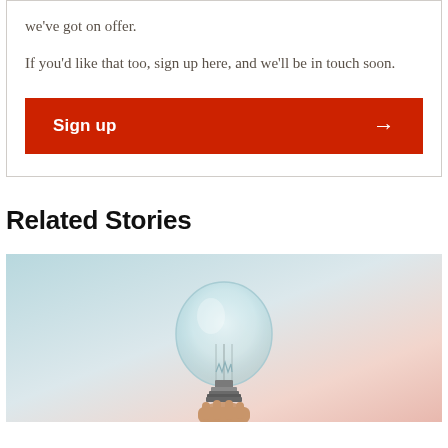we've got on offer.
If you'd like that too, sign up here, and we'll be in touch soon.
Sign up →
Related Stories
[Figure (photo): A hand holding a clear glass light bulb against a pastel pink and blue gradient sky background.]